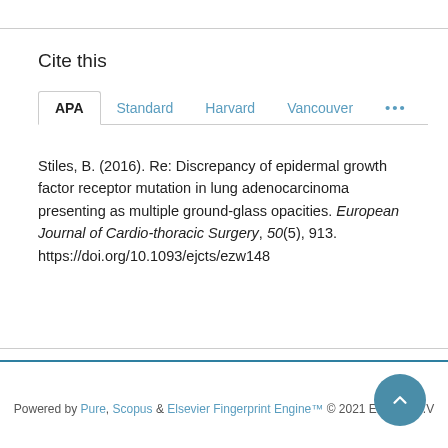Cite this
Stiles, B. (2016). Re: Discrepancy of epidermal growth factor receptor mutation in lung adenocarcinoma presenting as multiple ground-glass opacities. European Journal of Cardio-thoracic Surgery, 50(5), 913. https://doi.org/10.1093/ejcts/ezw148
Powered by Pure, Scopus & Elsevier Fingerprint Engine™ © 2021 Elsevier B.V